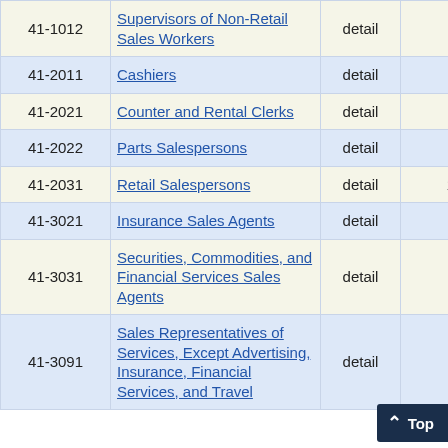| Code | Occupation | Level | Employment | Percent |
| --- | --- | --- | --- | --- |
| 41-1012 | Supervisors of Non-Retail Sales Workers | detail | 30 | 9.8 |
| 41-2011 | Cashiers | detail | 890 | 6.2 |
| 41-2021 | Counter and Rental Clerks | detail | 60 | 11.9 |
| 41-2022 | Parts Salespersons | detail | 80 | 11.3 |
| 41-2031 | Retail Salespersons | detail | 1,270 | 2.5 |
| 41-3021 | Insurance Sales Agents | detail | 150 | 13.2 |
| 41-3031 | Securities, Commodities, and Financial Services Sales Agents | detail | 50 | 16.8 |
| 41-3091 | Sales Representatives of Services, Except Advertising, Insurance, Financial Services, and Travel | detail | 150 | 8.9 |